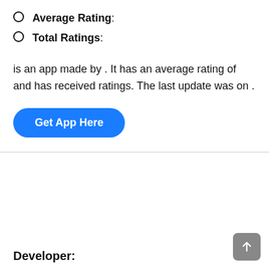Average Rating:
Total Ratings:
is an app made by . It has an average rating of and has received ratings. The last update was on .
[Figure (other): Blue rounded button labeled 'Get App Here']
Developer: